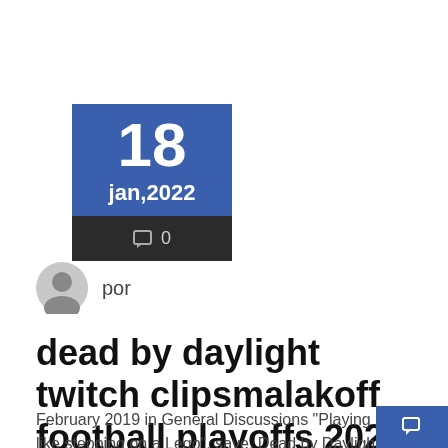[Figure (other): Date badge showing 18 jan,2022 with comment count 0]
[Figure (other): Author avatar (grey person silhouette icon) with label 'por']
dead by daylight twitch clipsmalakoff football playoffs 2021
February 2019 in General Discussions "Playing L... like stepping on a Lego". save. Dead by Daylight